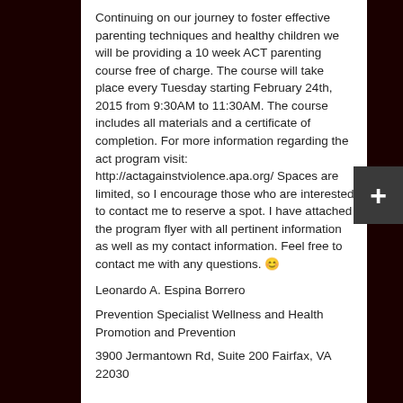Continuing on our journey to foster effective parenting techniques and healthy children we will be providing a 10 week ACT parenting course free of charge. The course will take place every Tuesday starting February 24th, 2015 from 9:30AM to 11:30AM. The course includes all materials and a certificate of completion. For more information regarding the act program visit: http://actagainstviolence.apa.org/ Spaces are limited, so I encourage those who are interested to contact me to reserve a spot. I have attached the program flyer with all pertinent information as well as my contact information. Feel free to contact me with any questions. 😊
Leonardo A. Espina Borrero
Prevention Specialist Wellness and Health Promotion and Prevention
3900 Jermantown Rd, Suite 200 Fairfax, VA 22030